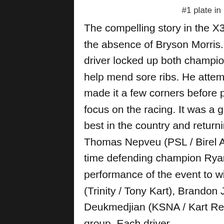#1 plate in KA100 Senior (Photo: EKN)
The compelling story in the X30 Senior and KA100 Senior classes was the absence of Bryson Morris. The Rolison Performance Group / Kosmic driver locked up both championships and elected to sit out the day to help mend sore ribs. He attempted the X30 Senior Prefinal, but only made it a few corners before pulling off. This allowed the attention to focus on the racing. It was a grueling fight in X30 Senior with some of the best in the country and returning veterans in the chase. Canadian Thomas Nepveu (PSL / Birel ART) set fast time in qualifying before four-time defending champion Ryan Norberg (RPG / Kosmic) had his best performance of the event to win the Prefinal. He along with Zach Holden (Trinity / Tony Kart), Brandon Jarsocrak (MDR / Kosmic), Arias Deukmedjian (KSNA / Kart Republic) and Nepveu made up the lead group. Each driver